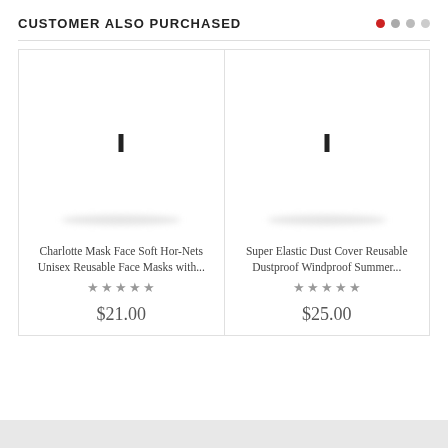CUSTOMER ALSO PURCHASED
[Figure (screenshot): Product card: Charlotte Mask Face Soft Hor-Nets Unisex Reusable Face Masks with... — 5 star rating — $21.00]
[Figure (screenshot): Product card: Super Elastic Dust Cover Reusable Dustproof Windproof Summer... — 5 star rating — $25.00]